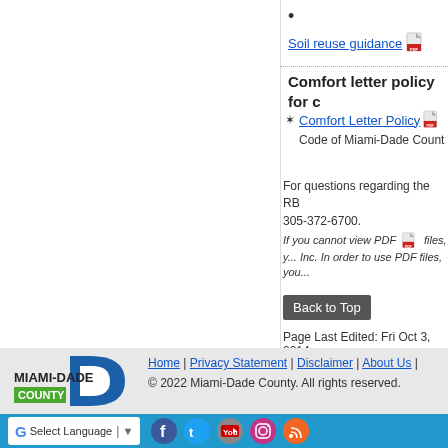•
Soil reuse guidance [PDF]
Comfort letter policy for c...
Comfort Letter Policy [PDF] Code of Miami-Dade Count...
For questions regarding the RB... 305-372-6700.
If you cannot view PDF files, y... Inc. In order to use PDF files, you...
Back to Top
Page Last Edited: Fri Oct 3, 2014
Home | Privacy Statement | Disclaimer | About Us | © 2022 Miami-Dade County. All rights reserved.